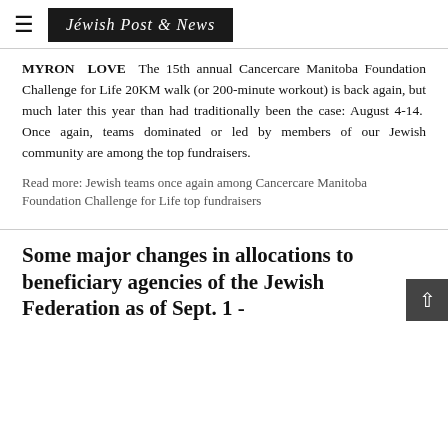Jewish Post & News
MYRON LOVE The 15th annual Cancercare Manitoba Foundation Challenge for Life 20KM walk (or 200-minute workout) is back again, but much later this year than had traditionally been the case: August 4-14. Once again, teams dominated or led by members of our Jewish community are among the top fundraisers.
Read more: Jewish teams once again among Cancercare Manitoba Foundation Challenge for Life top fundraisers
Some major changes in allocations to beneficiary agencies of the Jewish Federation as of Sept. 1 -